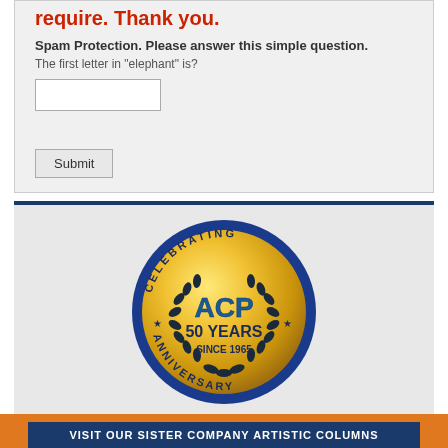require. Thank you.
Spam Protection. Please answer this simple question.
The first letter in "elephant" is?
[Figure (logo): ACP 50 Years Celebrating Anniversary Since 1965 gold medallion badge with blue border and laurel wreath]
VISIT OUR SISTER COMPANY ARTISTIC COLUMNS